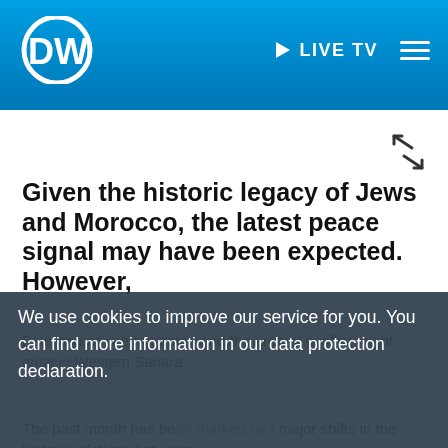DW LIVE TV
Given the historic legacy of Jews and Morocco, the latest peace signal may have been expected. However, Palestinians are frustrated and the area of conflict might arise in Western Sahara.
The past month has been marked by t major shifts in the historic relations between
We use cookies to improve our service for you. You can find more information in our data protection declaration.
More info  OK